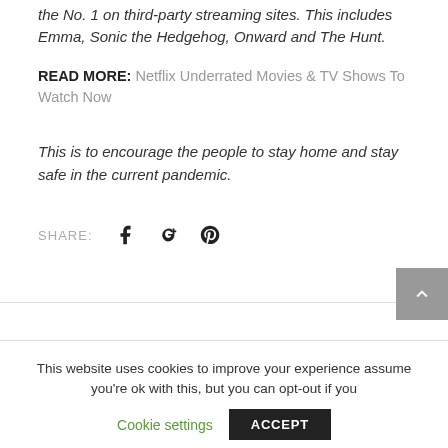the No. 1 on third-party streaming sites. This includes Emma, Sonic the Hedgehog, Onward and The Hunt.
READ MORE: Netflix Underrated Movies & TV Shows To Watch Now
This is to encourage the people to stay home and stay safe in the current pandemic.
SHARE:
This website uses cookies to improve your experience assume you're ok with this, but you can opt-out if you
Cookie settings
ACCEPT